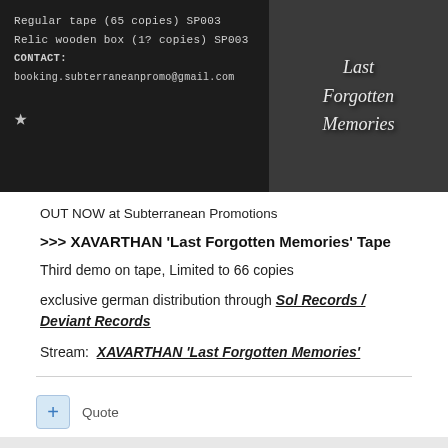[Figure (photo): Dark banner image split into two halves. Left half shows monospace text on dark background: 'Regular tape (65 copies) SP003', 'Relic wooden box (1? copies) SP003', 'CONTACT:', 'booking.subterraneanpromo@gmail.com' and a star symbol. Right half shows gothic-style text 'Last Forgotten Memories' in decorative script on dark textured background.]
OUT NOW at Subterranean Promotions
>>> XAVARTHAN 'Last Forgotten Memories' Tape
Third demo on tape, Limited to 66 copies
exclusive german distribution through Sol Records / Deviant Records
Stream: XAVARTHAN 'Last Forgotten Memories'
Quote
Munin
Posted March 18